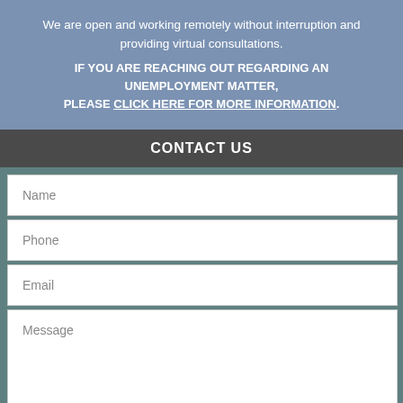We are open and working remotely without interruption and providing virtual consultations. IF YOU ARE REACHING OUT REGARDING AN UNEMPLOYMENT MATTER, PLEASE CLICK HERE FOR MORE INFORMATION.
CONTACT US
Name
Phone
Email
Message
Please note that contacting us does not create any attorney-client relationship between you and our firm.
[Figure (other): reCAPTCHA widget with checkbox and 'I'm not a robot' text and reCAPTCHA logo]